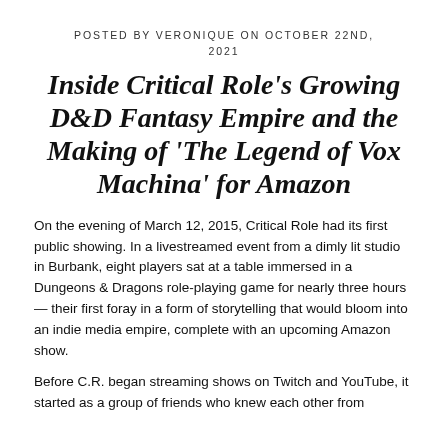POSTED BY VERONIQUE ON OCTOBER 22ND, 2021
Inside Critical Role's Growing D&D Fantasy Empire and the Making of 'The Legend of Vox Machina' for Amazon
On the evening of March 12, 2015, Critical Role had its first public showing. In a livestreamed event from a dimly lit studio in Burbank, eight players sat at a table immersed in a Dungeons & Dragons role-playing game for nearly three hours — their first foray in a form of storytelling that would bloom into an indie media empire, complete with an upcoming Amazon show.
Before C.R. began streaming shows on Twitch and YouTube, it started as a group of friends who knew each other from